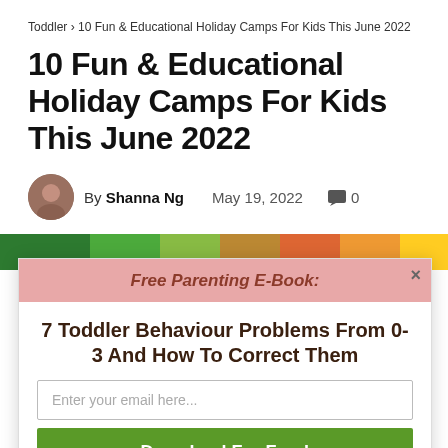Toddler › 10 Fun & Educational Holiday Camps For Kids This June 2022
10 Fun & Educational Holiday Camps For Kids This June 2022
By Shanna Ng   May 19, 2022   🗨 0
[Figure (photo): Colorful hero image strip showing children at camps]
Free Parenting E-Book: 7 Toddler Behaviour Problems From 0-3 And How To Correct Them
Enter your email here...
Download For Free!